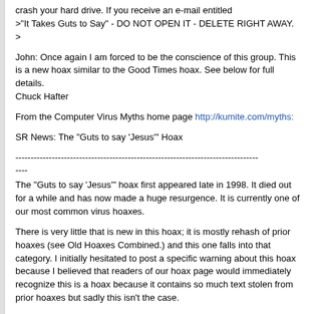crash your hard drive. If you receive an e-mail entitled
>"It Takes Guts to Say" - DO NOT OPEN IT - DELETE RIGHT AWAY.
>
John: Once again I am forced to be the conscience of this group. This is a new hoax similar to the Good Times hoax. See below for full details.
Chuck Hafter
From the Computer Virus Myths home page http://kumite.com/myths:
SR News: The "Guts to say 'Jesus'" Hoax
--------------------------------------------------------------------------------
----
The "Guts to say 'Jesus'" hoax first appeared late in 1998. It died out for a while and has now made a huge resurgence. It is currently one of our most common virus hoaxes.
There is very little that is new in this hoax; it is mostly rehash of prior hoaxes (see Old Hoaxes Combined.) and this one falls into that category. I initially hesitated to post a specific warning about this hoax because I believed that readers of our hoax page would immediately recognize this is a hoax because it contains so much text stolen from prior hoaxes but sadly this isn't the case.
Note that only the beginning of this hoax contains some new text. But even this "new text" fits into the old hoax pattern started by The "Good Times"